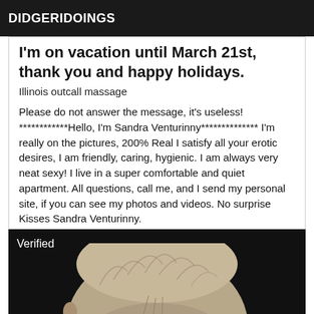DIDGERIDOINGS
I'm on vacation until March 21st, thank you and happy holidays.
Illinois outcall massage
Please do not answer the message, it's useless! ************Hello, I'm Sandra Venturinny************** I'm really on the pictures, 200% Real I satisfy all your erotic desires, I am friendly, caring, hygienic. I am always very neat sexy! I live in a super comfortable and quiet apartment. All questions, call me, and I send my personal site, if you can see my photos and videos. No surprise Kisses Sandra Venturinny.
[Figure (photo): Close-up black and white photograph of a person's head, showing the top and back of the head with light-colored hair against a dark background. A 'Verified' label appears in the top-left corner.]